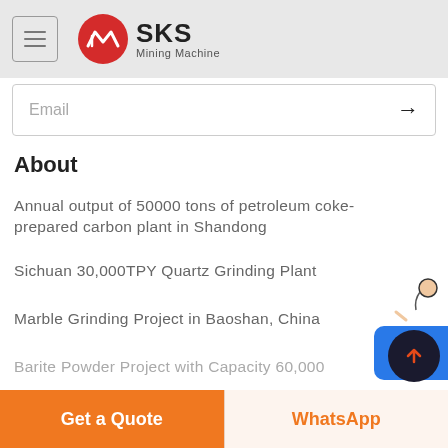[Figure (logo): SKS Mining Machine logo with red circular icon and text 'SKS Mining Machine']
Email
About
Annual output of 50000 tons of petroleum coke-prepared carbon plant in Shandong
Sichuan 30,000TPY Quartz Grinding Plant
Marble Grinding Project in Baoshan, China
Barite Powder Project with Capacity 60,000...
Get a Quote
WhatsApp